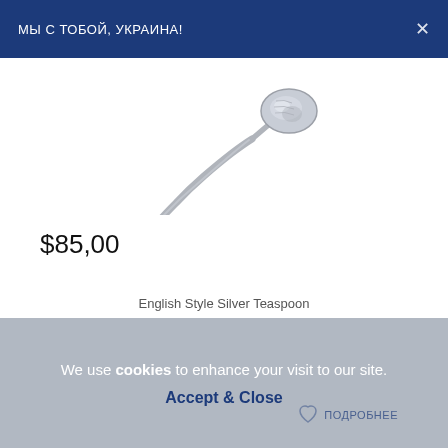МЫ С ТОБОЙ, УКРАИНА!
[Figure (photo): A silver teaspoon with decorative English-style handle, shown diagonally on white background]
$85,00
English Style Silver Teaspoon
We use cookies to enhance your visit to our site.
Accept & Close
ПОДРОБНЕЕ